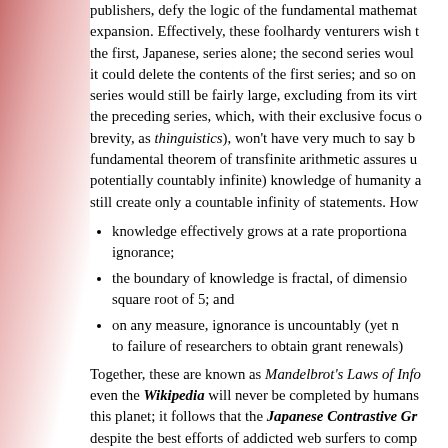publishers, defy the logic of the fundamental mathematical expansion. Effectively, these foolhardy venturers wish the first, Japanese, series alone; the second series would it could delete the contents of the first series; and so on series would still be fairly large, excluding from its virtue the preceding series, which, with their exclusive focus brevity, as thinguistics), won't have very much to say b fundamental theorem of transfinite arithmetic assures u potentially countably infinite) knowledge of humanity still create only a countable infinity of statements. How
knowledge effectively grows at a rate proportiona ignorance;
the boundary of knowledge is fractal, of dimensio square root of 5; and
on any measure, ignorance is uncountably (yet n to failure of researchers to obtain grant renewals)
Together, these are known as Mandelbrot's Laws of Info even the Wikipedia will never be completed by humans this planet; it follows that the Japanese Contrastive Gr despite the best efforts of addicted web surfers to comp then, for the final volume to arrive, as so foolishly prog
Naturally, I wish the publishers the best of luck, the idio 'intellectually disadvantaged persons'?